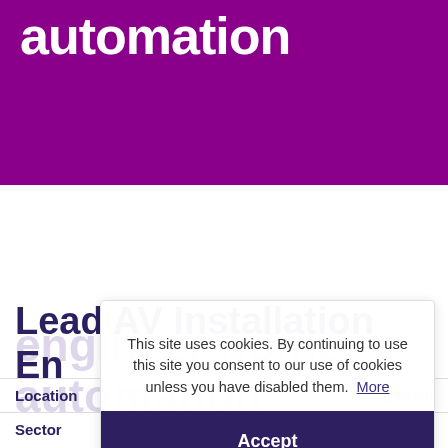automation
Lead AV Installation Engineer home automation
Location	London
Sector	Audiovisual, Residential
This site uses cookies. By continuing to use this site you consent to our use of cookies unless you have disabled them. More
Accept